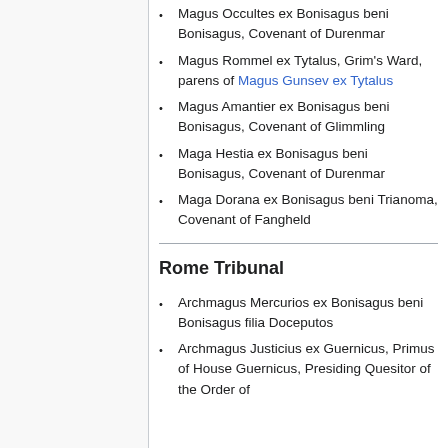Magus Occultes ex Bonisagus beni Bonisagus, Covenant of Durenmar
Magus Rommel ex Tytalus, Grim's Ward, parens of Magus Gunsev ex Tytalus
Magus Amantier ex Bonisagus beni Bonisagus, Covenant of Glimmling
Maga Hestia ex Bonisagus beni Bonisagus, Covenant of Durenmar
Maga Dorana ex Bonisagus beni Trianoma, Covenant of Fangheld
Rome Tribunal
Archmagus Mercurios ex Bonisagus beni Bonisagus filia Doceputos
Archmagus Justicius ex Guernicus, Primus of House Guernicus, Presiding Quesitor of the Order of